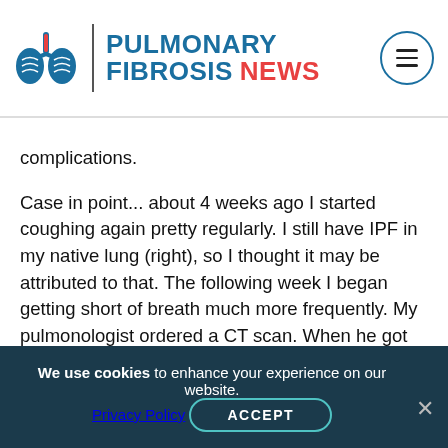PULMONARY FIBROSIS NEWS
complications.
Case in point... about 4 weeks ago I started coughing again pretty regularly. I still have IPF in my native lung (right), so I thought it may be attributed to that. The following week I began getting short of breath much more frequently. My pulmonologist ordered a CT scan. When he got the results he immediately admitted me to the hospital and scheduled a bronchoscopy the next morning.
I woke up the following morning in ICU and
We use cookies to enhance your experience on our website. Privacy Policy ACCEPT